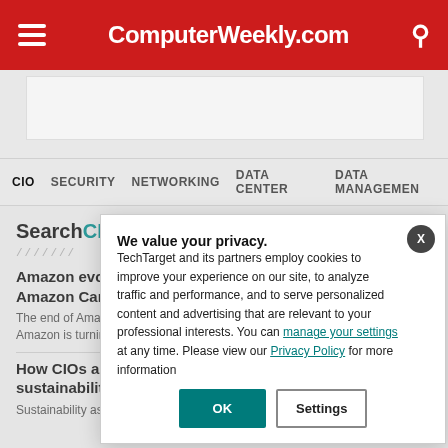ComputerWeekly.com
[Figure (other): Advertisement placeholder area]
CIO  SECURITY  NETWORKING  DATA CENTER  DATA MANAGEMENT
SearchCIO
Amazon evolves Amazon Care
The end of Amazon ... Amazon is turning fr...
How CIOs and IT leaders can drive sustainability
Sustainability as a b...
We value your privacy. TechTarget and its partners employ cookies to improve your experience on our site, to analyze traffic and performance, and to serve personalized content and advertising that are relevant to your professional interests. You can manage your settings at any time. Please view our Privacy Policy for more information